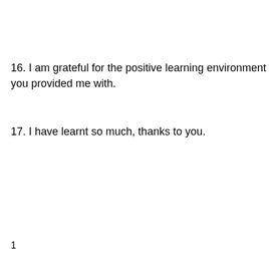16. I am grateful for the positive learning environment you provided me with.
17. I have learnt so much, thanks to you.
1